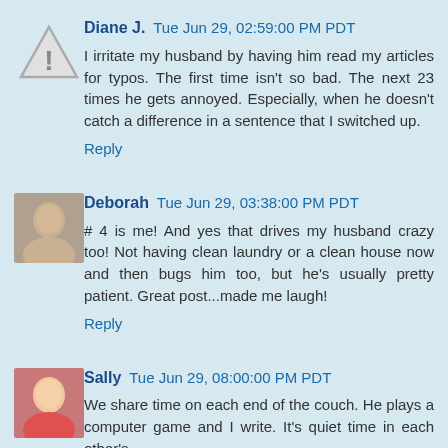Diane J. Tue Jun 29, 02:59:00 PM PDT
I irritate my husband by having him read my articles for typos. The first time isn't so bad. The next 23 times he gets annoyed. Especially, when he doesn't catch a difference in a sentence that I switched up.
Reply
Deborah Tue Jun 29, 03:38:00 PM PDT
# 4 is me! And yes that drives my husband crazy too! Not having clean laundry or a clean house now and then bugs him too, but he's usually pretty patient. Great post...made me laugh!
Reply
Sally Tue Jun 29, 08:00:00 PM PDT
We share time on each end of the couch. He plays a computer game and I write. It's quiet time in each other's